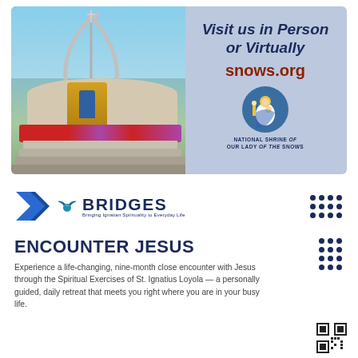[Figure (illustration): Advertisement banner for National Shrine of Our Lady of the Snows. Left half shows a photo of the shrine building with a decorative arch sculpture, golden sanctuary, and colorful flower displays on steps against a blue sky. Right half has a light periwinkle/lavender background with bold text 'Visit us in Person or Virtually', URL 'snows.org', a circular shrine logo icon with Madonna and child, and text 'NATIONAL SHRINE of OUR LADY of the SNOWS'.]
[Figure (logo): Two logos side by side: a blue chevron/arrow logo on the left, and the BRIDGES logo (Bringing Ignatian Spirituality to Everyday Life) with a bird icon on the right, plus a grid of dark blue dots on the far right.]
ENCOUNTER JESUS
Experience a life-changing, nine-month close encounter with Jesus through the Spiritual Exercises of St. Ignatius Loyola — a personally guided, daily retreat that meets you right where you are in your busy life.
[Figure (other): QR code in bottom right corner]